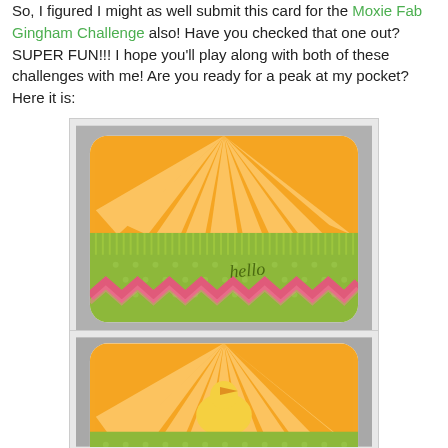So, I figured I might as well submit this card for the Moxie Fab Gingham Challenge also!  Have you checked that one out?  SUPER FUN!!!  I hope you'll play along with both of these challenges with me!  Are you ready for a peak at my pocket?  Here it is:
[Figure (photo): Photo of a handmade greeting card with rounded corners. Card has an orange sunburst pattern on top half and green polka-dot pattern on bottom half with a green striped pocket. A pink chevron/zigzag ribbon strip runs horizontally and the word 'hello' is written in script.]
[Figure (photo): Partial photo of another view of a handmade greeting card showing orange sunburst pattern with a yellow silhouette shape (possibly a bird or chick) in center, and green polka-dot pattern at the bottom.]